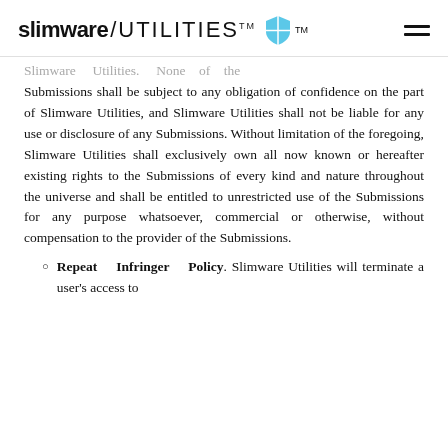slimware / UTILITIES™ [shield logo] [hamburger menu]
Slimware Utilities. None of the Submissions shall be subject to any obligation of confidence on the part of Slimware Utilities, and Slimware Utilities shall not be liable for any use or disclosure of any Submissions. Without limitation of the foregoing, Slimware Utilities shall exclusively own all now known or hereafter existing rights to the Submissions of every kind and nature throughout the universe and shall be entitled to unrestricted use of the Submissions for any purpose whatsoever, commercial or otherwise, without compensation to the provider of the Submissions.
Repeat Infringer Policy. Slimware Utilities will terminate a user's access to